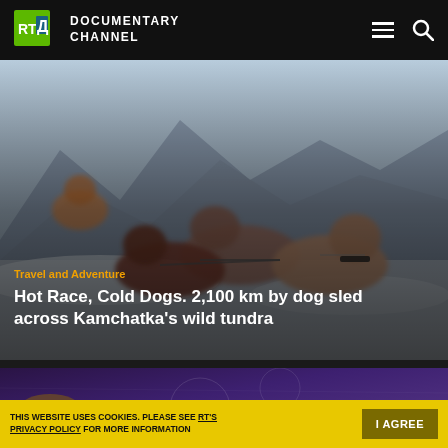RT Documentary Channel
[Figure (photo): Dog sled team running across snowy tundra with a musher in the background, blurred motion, winter landscape with mountains in the distance]
Travel and Adventure
Hot Race, Cold Dogs. 2,100 km by dog sled across Kamchatka's wild tundra
[Figure (photo): Two children faces visible against a purple/dark chalkboard background with partial text 'Leave these' visible]
THIS WEBSITE USES COOKIES. PLEASE SEE RT'S PRIVACY POLICY FOR MORE INFORMATION
I AGREE